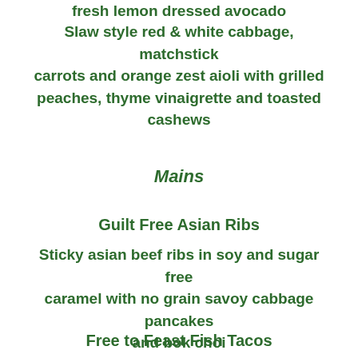fresh lemon dressed avocado
Slaw style red & white cabbage, matchstick carrots and orange zest aioli with grilled peaches, thyme vinaigrette and toasted cashews
Mains
Guilt Free Asian Ribs
Sticky asian beef ribs in soy and sugar free caramel with no grain savoy cabbage pancakes and bok choi
Free to Feast Fish Tacos